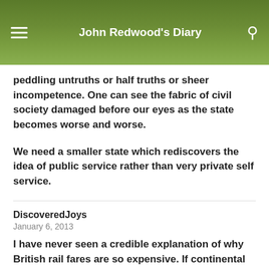John Redwood's Diary
peddling untruths or half truths or sheer incompetence. One can see the fabric of civil society damaged before our eyes as the state becomes worse and worse.
We need a smaller state which rediscovers the idea of public service rather than very private self service.
DiscoveredJoys
January 6, 2013
I have never seen a credible explanation of why British rail fares are so expensive. If continental rail fares are subsidised (as we are told) can we not find out the pre-subsidy cost per passenger per kilometre? How does this compare with British